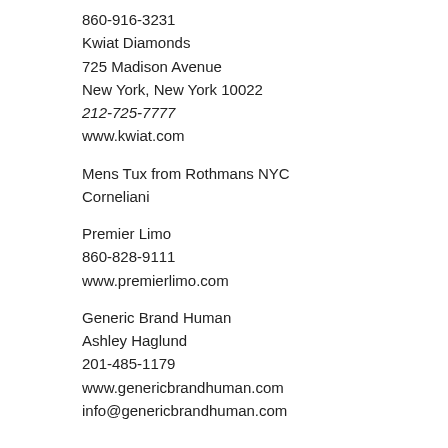860-916-3231
Kwiat Diamonds
725 Madison Avenue
New York, New York 10022
212-725-7777
www.kwiat.com
Mens Tux from Rothmans NYC
Corneliani
Premier Limo
860-828-9111
www.premierlimo.com
Generic Brand Human
Ashley Haglund
201-485-1179
www.genericbrandhuman.com
info@genericbrandhuman.com